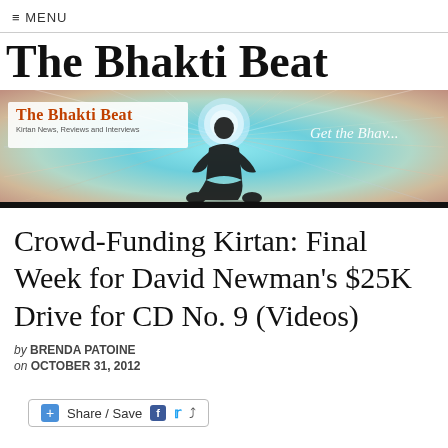≡ MENU
The Bhakti Beat
[Figure (illustration): The Bhakti Beat website banner with silhouette of a meditating figure in lotus pose against a colorful radiating light background. Left side shows logo text 'The Bhakti Beat / Kirtan News, Reviews and Interviews' on white background. Right side shows cursive text 'Get the Bhav...']
Crowd-Funding Kirtan: Final Week for David Newman's $25K Drive for CD No. 9 (Videos)
by BRENDA PATOINE
on OCTOBER 31, 2012
+ Share / Save